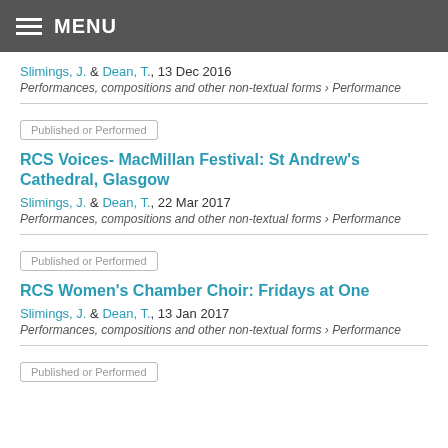MENU
Slimings, J. & Dean, T., 13 Dec 2016
Performances, compositions and other non-textual forms › Performance
Published or Performed
RCS Voices- MacMillan Festival: St Andrew's Cathedral, Glasgow
Slimings, J. & Dean, T., 22 Mar 2017
Performances, compositions and other non-textual forms › Performance
Published or Performed
RCS Women's Chamber Choir: Fridays at One
Slimings, J. & Dean, T., 13 Jan 2017
Performances, compositions and other non-textual forms › Performance
Published or Performed